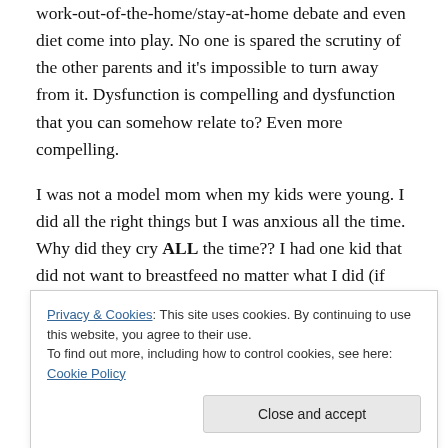work-out-of-the-home/stay-at-home debate and even diet come into play. No one is spared the scrutiny of the other parents and it's impossible to turn away from it. Dysfunction is compelling and dysfunction that you can somehow relate to? Even more compelling.
I was not a model mom when my kids were young. I did all the right things but I was anxious all the time. Why did they cry ALL the time?? I had one kid that did not want to breastfeed no matter what I did (if you know me, you can probably guess which one) and then the other wanted to breastfeed forever. I had ZERO patience for the tantrums
Privacy & Cookies: This site uses cookies. By continuing to use this website, you agree to their use.
To find out more, including how to control cookies, see here: Cookie Policy
Close and accept
those days,  I functioned on less than three hours of sleep